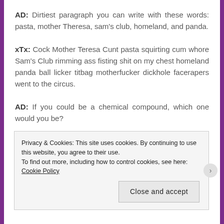AD: Dirtiest paragraph you can write with these words: pasta, mother Theresa, sam's club, homeland, and panda.
xTx: Cock Mother Teresa Cunt pasta squirting cum whore Sam's Club rimming ass fisting shit on my chest homeland panda ball licker titbag motherfucker dickhole facerapers went to the circus.
AD: If you could be a chemical compound, which one would you be?
Privacy & Cookies: This site uses cookies. By continuing to use this website, you agree to their use. To find out more, including how to control cookies, see here: Cookie Policy